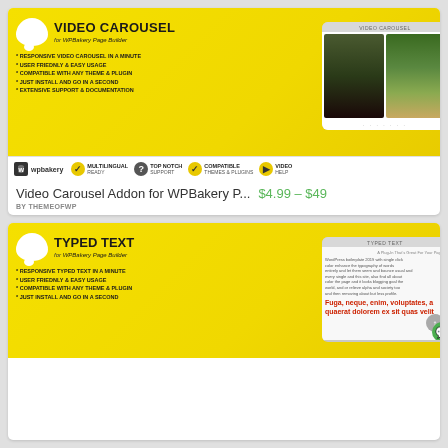[Figure (screenshot): Video Carousel Addon for WPBakery Page Builder plugin banner with yellow background, logo, features list, and video thumbnail mockup]
Video Carousel Addon for WPBakery P...
$4.99 – $49
BY THEMEOFWP
[Figure (screenshot): Typed Text Addon for WPBakery Page Builder plugin banner with yellow background, logo, features list, and typed text mockup]